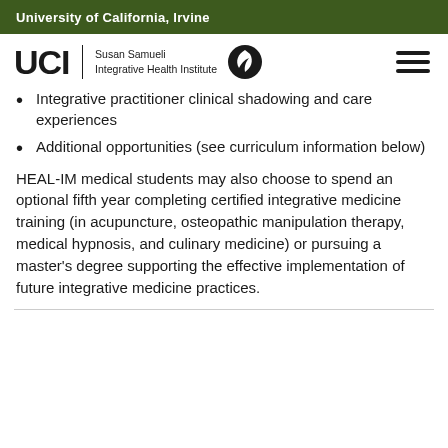University of California, Irvine
[Figure (logo): UCI Susan Samueli Integrative Health Institute logo with leaf icon and hamburger menu]
Integrative practitioner clinical shadowing and care experiences
Additional opportunities (see curriculum information below)
HEAL-IM medical students may also choose to spend an optional fifth year completing certified integrative medicine training (in acupuncture, osteopathic manipulation therapy, medical hypnosis, and culinary medicine) or pursuing a master’s degree supporting the effective implementation of future integrative medicine practices.